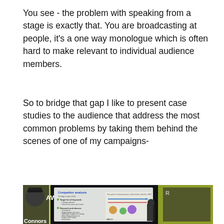You see - the problem with speaking from a stage is exactly that. You are broadcasting at people, it's a one way monologue which is often hard to make relevant to individual audience members.
So to bridge that gap I like to present case studies to the audience that address the most common problems by taking them behind the scenes of one of my campaigns-
[Figure (photo): A conference stage photo showing a presenter in front of a large screen displaying a 'Competitor analysis' slide. The screen shows sections including 'Target list of keywords', 'Research and observe', and a diagram. Branding elements including 'AW' logo and 'connors' text are visible. Yellow-green branded banners flank the presentation screens.]